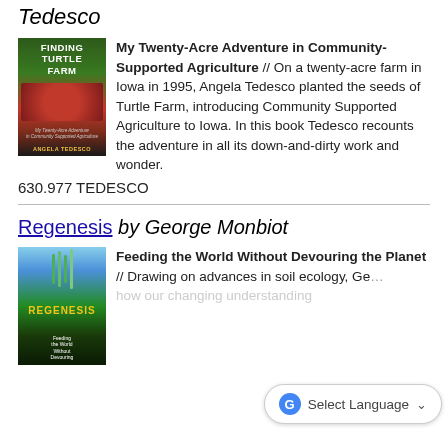Tedesco
[Figure (illustration): Book cover of Finding Turtle Farm with red vegetables on green background]
My Twenty-Acre Adventure in Community-Supported Agriculture // On a twenty-acre farm in Iowa in 1995, Angela Tedesco planted the seeds of Turtle Farm, introducing Community Supported Agriculture to Iowa. In this book Tedesco recounts the adventure in all its down-and-dirty work and wonder.
630.977 TEDESCO
Regenesis by George Monbiot
[Figure (illustration): Book cover of Regenesis: Feeding the World Without Devouring the Planet with seedlings growing from dark soil]
Feeding the World Without Devouring the Planet // Drawing on advances in soil ecology, George Monbiot shows how our changing understanding
Select Language